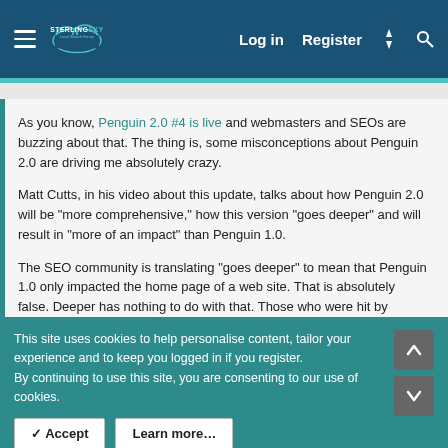Sterling Sky Local Search Forum — Log in | Register
As you know, Penguin 2.0 #4 is live and webmasters and SEOs are buzzing about that. The thing is, some misconceptions about Penguin 2.0 are driving me absolutely crazy.
Matt Cutts, in his video about this update, talks about how Penguin 2.0 will be "more comprehensive," how this version "goes deeper" and will result in "more of an impact" than Penguin 1.0.
The SEO community is translating "goes deeper" to mean that Penguin 1.0 only impacted the home page of a web site. That is absolutely false. Deeper has nothing to do with that. Those who were hit by Penguin 1.0 know all to well that their whole site suffered, not just their home page.
This site uses cookies to help personalise content, tailor your experience and to keep you logged in if you register.
By continuing to use this site, you are consenting to our use of cookies.